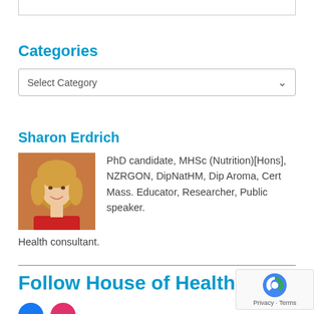Categories
Select Category
Sharon Erdrich
[Figure (photo): Photo of Sharon Erdrich, a woman with blonde hair wearing a red top, against an orange background]
PhD candidate, MHSc (Nutrition)[Hons], NZRGON, DipNatHM, Dip Aroma, Cert Mass. Educator, Researcher, Public speaker. Health consultant.
Follow House of Health
[Figure (logo): reCAPTCHA badge with Privacy and Terms links]